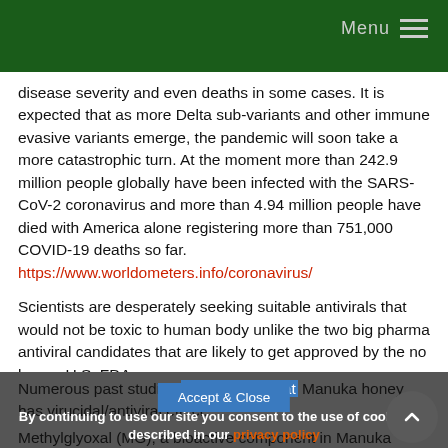Menu
disease severity and even deaths in some cases. It is expected that as more Delta sub-variants and other immune evasive variants emerge, the pandemic will soon take a more catastrophic turn. At the moment more than 242.9 million people globally have been infected with the SARS-CoV-2 coronavirus and more than 4.94 million people have died with America alone registering more than 751,000 COVID-19 deaths so far. https://www.worldometers.info/coronavirus/
Scientists are desperately seeking suitable antivirals that would not be toxic to human body unlike the two big pharma antiviral candidates that are likely to get approved by the no longer U.S. FDA.
Numerous past studies have shown that Manuka honey has virucidal/antiviral effect...
Methylglyoxal (MG), a bioactive component in Manuka honey,
By continuing to use our site you consent to the use of cookies as described in our privacy policy